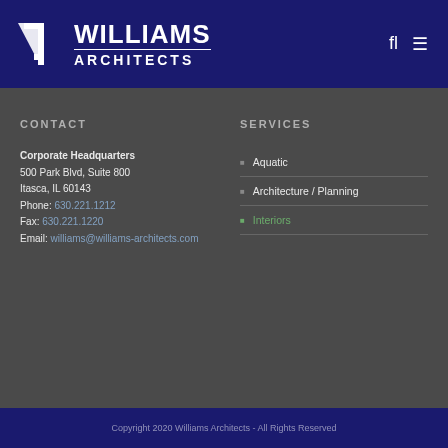[Figure (logo): Williams Architects logo with white angular shape and text]
CONTACT
Corporate Headquarters
500 Park Blvd, Suite 800
Itasca, IL 60143
Phone: 630.221.1212
Fax: 630.221.1220
Email: williams@williams-architects.com
SERVICES
Aquatic
Architecture / Planning
Interiors
Copyright 2020 Williams Architects - All Rights Reserved